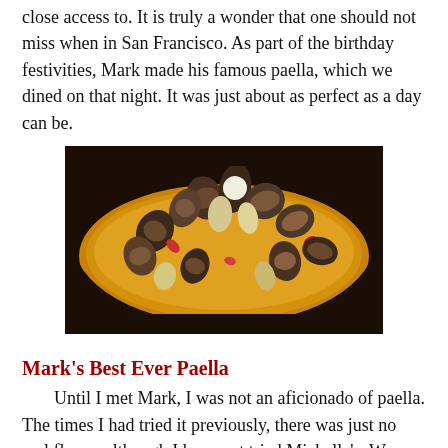close access to. It is truly a wonder that one should not miss when in San Francisco. As part of the birthday festivities, Mark made his famous paella, which we dined on that night. It was just about as perfect as a day can be.
[Figure (photo): A pan of paella filled with clams, mussels, shrimp and rice, photographed from above in a dark cast iron pan.]
Mark's Best Ever Paella
Until I met Mark, I was not an aficionado of paella. The times I had tried it previously, there was just no real flavor, although I have not tried Michelle's. We previously published her recipe that is perfect to serve to vegetarians. The various paellas that I had tried previously were bland affairs, and